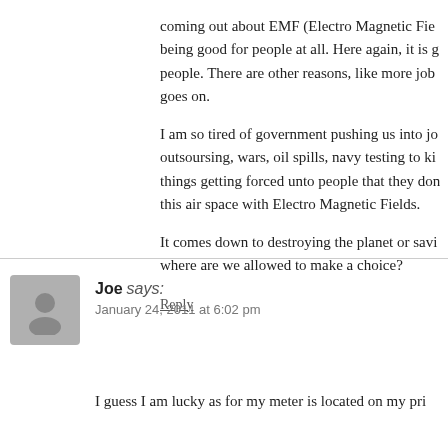coming out about EMF (Electro Magnetic Fie... being good for people at all. Here again, it is g... people. There are other reasons, like more job... goes on.
I am so tired of government pushing us into jo... outsoursing, wars, oil spills, navy testing to ki... things getting forced unto people that they don... this air space with Electro Magnetic Fields.
It comes down to destroying the planet or savi... where are we allowed to make a choice?
Reply
Joe says:
January 24, 2011 at 6:02 pm
I guess I am lucky as for my meter is located on my pri...